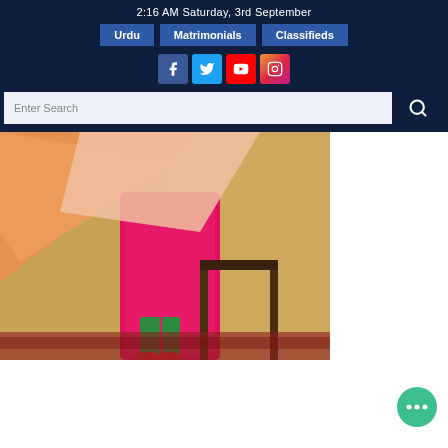2:16 AM Saturday, 3rd September
Urdu
Matrimonials
Classifieds
[Figure (screenshot): Social media icons: Facebook, Twitter, YouTube, Instagram]
[Figure (photo): Woman in traditional Pakistani bridal attire with a pink embroidered dupatta and green churidar, standing near a wooden chair against a golden wall background]
[Figure (other): Teal chat bubble icon with three dots at bottom right corner]